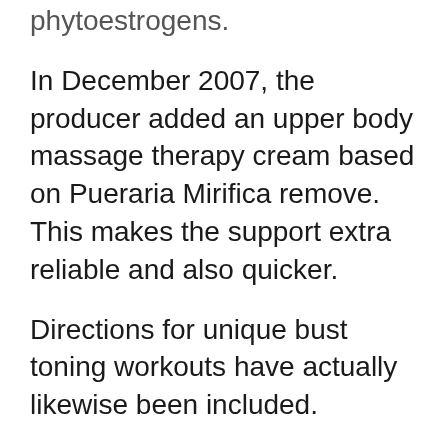phytoestrogens.
In December 2007, the producer added an upper body massage therapy cream based on Pueraria Mirifica remove. This makes the support extra reliable and also quicker.
Directions for unique bust toning workouts have actually likewise been included.
This mix of pills, cream as well as special exercises is active under the name Bust Actives for all-natural boob job.
Since the pills were presented, greater than 100,000 females worldwide have efficiently utilized it.
(partial) Since the pills were presented...